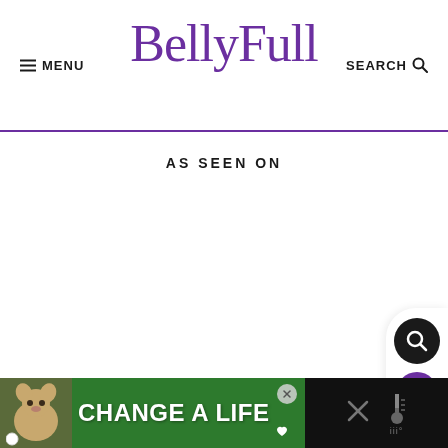MENU | BellyFull | SEARCH
AS SEEN ON
[Figure (screenshot): Sidebar with dark search circle button, purple heart button, share button, and count of 2]
[Figure (screenshot): Bottom advertisement banner: dog photo with green background and CHANGE A LIFE text, with close button and dark right section with X icon and thermometer icon]